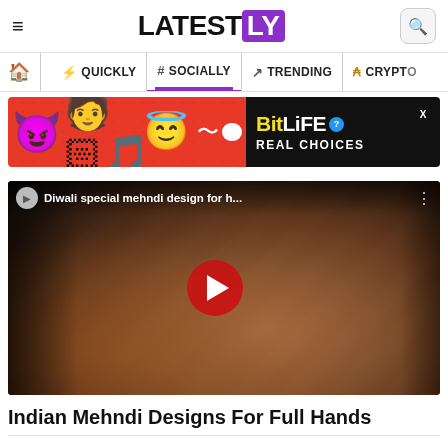LATESTLY
[Figure (screenshot): Navigation bar with home icon, QUICKLY, SOCIALLY (active/underlined), TRENDING, CRYPTO tabs]
[Figure (photo): BitLife advertisement banner with devil, person and angel emojis on red background, BitLife logo and REAL CHOICES text on dark background, with close X button]
[Figure (photo): YouTube video thumbnail showing an intricate Indian mehndi (henna) design on a hand with floral patterns, with red play button in center. Video title: Diwali special mehndi design for h...]
Indian Mehndi Designs For Full Hands